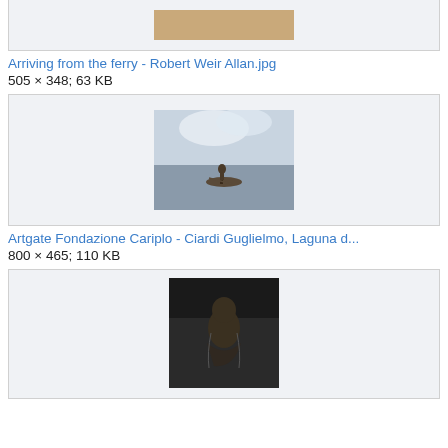[Figure (photo): Partial view of a painting at top of page, cropped]
Arriving from the ferry - Robert Weir Allan.jpg
505 × 348; 63 KB
[Figure (photo): Painting of a figure in a boat on a misty lagoon, with cloudy sky background - Artgate Fondazione Cariplo - Ciardi Guglielmo, Laguna d...]
Artgate Fondazione Cariplo - Ciardi Guglielmo, Laguna d...
800 × 465; 110 KB
[Figure (photo): Black and white illustration or engraving of a seated figure, partially visible at bottom of page]